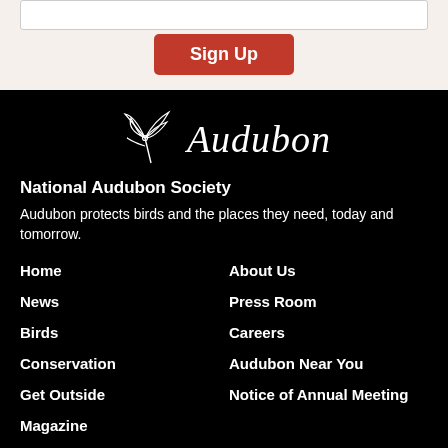[Figure (logo): Audubon organization logo with bird illustration and Audubon text in serif italic font]
National Audubon Society
Audubon protects birds and the places they need, today and tomorrow.
Home
About Us
News
Press Room
Birds
Careers
Conservation
Audubon Near You
Get Outside
Notice of Annual Meeting
Magazine